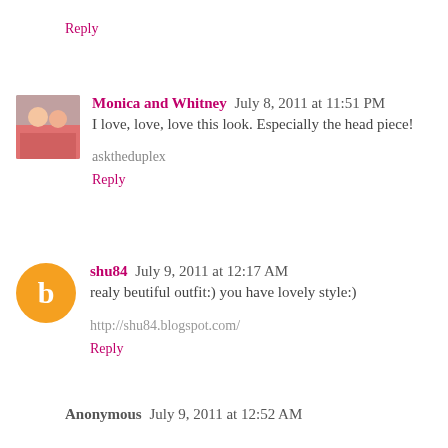Reply
Monica and Whitney  July 8, 2011 at 11:51 PM
I love, love, love this look. Especially the head piece!
asktheduplex
Reply
shu84  July 9, 2011 at 12:17 AM
realy beutiful outfit:) you have lovely style:)
http://shu84.blogspot.com/
Reply
Anonymous  July 9, 2011 at 12:52 AM